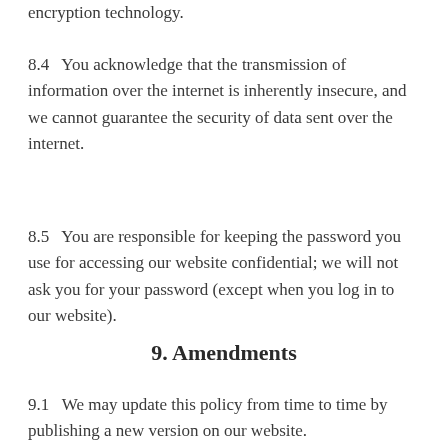encryption technology.
8.4   You acknowledge that the transmission of information over the internet is inherently insecure, and we cannot guarantee the security of data sent over the internet.
8.5   You are responsible for keeping the password you use for accessing our website confidential; we will not ask you for your password (except when you log in to our website).
9. Amendments
9.1   We may update this policy from time to time by publishing a new version on our website.